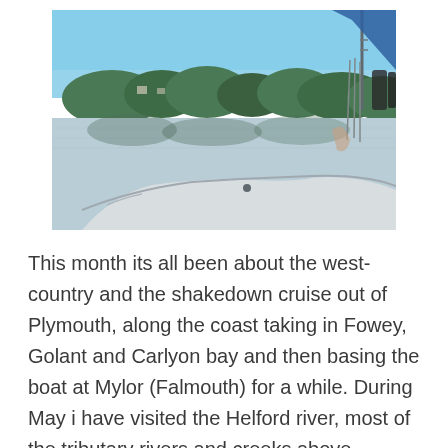[Figure (photo): View from the bow of a sailboat looking out over calm water toward a tree-lined shore with houses visible among the trees. Blue sky above. Sailboat rigging and ropes visible in the foreground. A blue sail cover or bag is visible in the upper right.]
This month its all been about the west-country and the shakedown cruise out of Plymouth, along the coast taking in Fowey, Golant and Carlyon bay and then basing the boat at Mylor (Falmouth) for a while. During May i have visited the Helford river, most of the tributary rivers and creeks above Falmouth and then had 2 days very brisk sailing